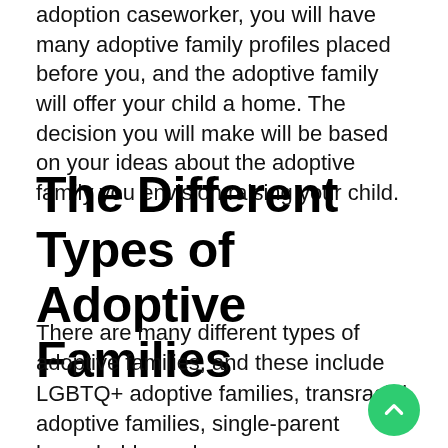adoption caseworker, you will have many adoptive family profiles placed before you, and the adoptive family will offer your child a home. The decision you will make will be based on your ideas about the adoptive family you envision raising your child.
The Different Types of Adoptive Families
There are many different types of adoptive families, and these include LGBTQ+ adoptive families, transracial adoptive families, single-parent households, and heterosexual/traditional adoptive families. All of these adoptive family types have benefits, and depending on what you speak to your adoption caseworker about, you will come to a decision about which family type is the best fit f...